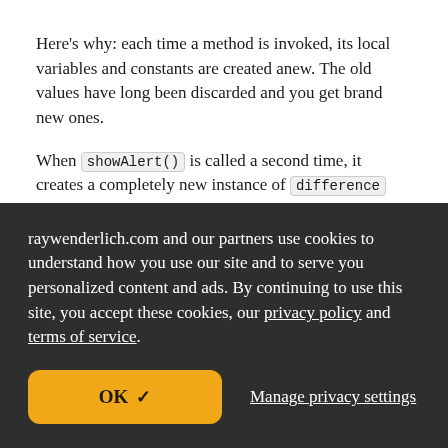Here's why: each time a method is invoked, its local variables and constants are created anew. The old values have long been discarded and you get brand new ones.
When showAlert() is called a second time, it creates a completely new instance of difference that is unrelated to the previous one. That particular constant value is only used until the end of showAlert() and then it is discarded.
raywenderlich.com and our partners use cookies to understand how you use our site and to serve you personalized content and ads. By continuing to use this site, you accept these cookies, our privacy policy and terms of service.
OK ✓
Manage privacy settings